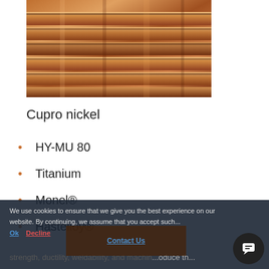[Figure (photo): Close-up photograph of stacked copper or cupro-nickel metal bars/sheets with a warm copper-brown metallic sheen]
Cupro nickel
HY-MU 80
Titanium
Monel®
Hastelloy®
Kovar®
Inconel®
We use cookies to ensure that we give you the best experience on our website. By continuing, we assume that you accept such cookies.
Ok   Decline
Contact Us